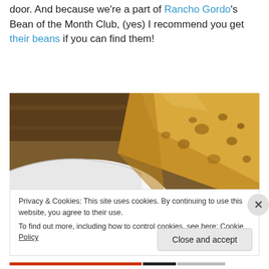door. And because we're a part of Rancho Gordo's Bean of the Month Club, (yes) I recommend you get their beans if you can find them!
[Figure (photo): Close-up photo of a white bowl with toasted artisan bread beside it, warm brown tones.]
Privacy & Cookies: This site uses cookies. By continuing to use this website, you agree to their use. To find out more, including how to control cookies, see here: Cookie Policy